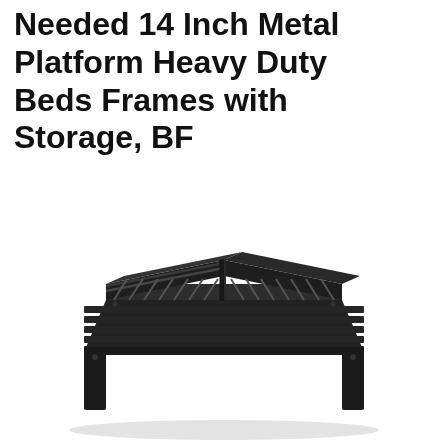Needed 14 Inch Metal Platform Heavy Duty Beds Frames with Storage, BF
[Figure (photo): Black metal platform bed frame with horizontal slats and four corner legs, viewed from a slight angle above, showing the slatted surface and under-bed storage space.]